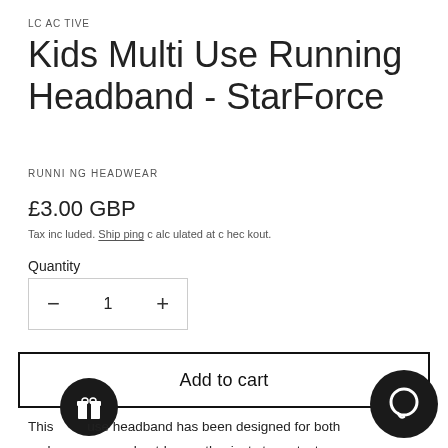LC ACTIVE
Kids Multi Use Running Headband - StarForce
RUNNING HEADWEAR
£3.00 GBP
Tax included. Shipping calculated at checkout.
Quantity
— 1 +
Add to cart
This multi use headband has been designed for both and runners and outdoor enthusiasts to protect head and neck from the sun and cold weather.